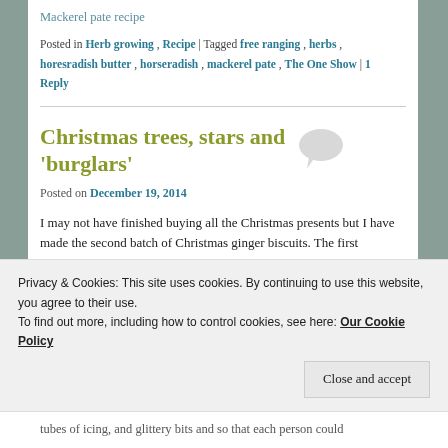Mackerel pate recipe
Posted in Herb growing , Recipe | Tagged free ranging , herbs , horesradish butter , horseradish , mackerel pate , The One Show | 1 Reply
Christmas trees, stars and 'burglars'
Posted on December 19, 2014
I may not have finished buying all the Christmas presents but I have made the second batch of Christmas ginger biscuits.  The first batch disappear...
Privacy & Cookies: This site uses cookies. By continuing to use this website, you agree to their use.
To find out more, including how to control cookies, see here: Our Cookie Policy
Close and accept
tubes of icing, and glittery bits and so that each person could